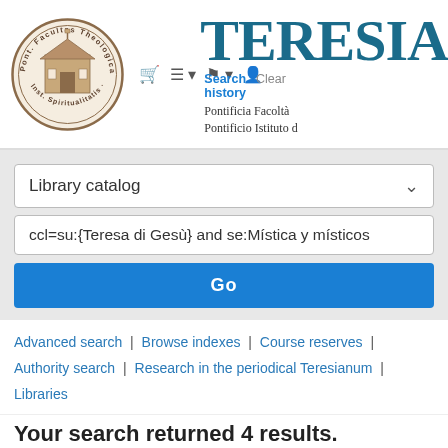[Figure (logo): Circular seal/logo of Teresianum institution with Latin text around the border and an architectural illustration in the center]
TERESIA
Search history | Clear
Pontificia Facoltà
Pontificio Istituto d
Library catalog
ccl=su:{Teresa di Gesù} and se:Mística y místicos
Go
Advanced search | Browse indexes | Course reserves | Authority search | Research in the periodical Teresianum | Libraries
Your search returned 4 results.
[Figure (logo): RSS feed icon in orange]